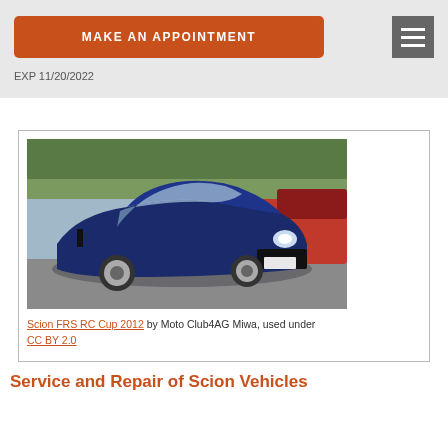MAKE AN APPOINTMENT
EXP 11/20/2022
[Figure (photo): Blue Scion FRS RC Cup 2012 sports car in a parking lot, front three-quarter view, with other cars in the background]
Scion FRS RC Cup 2012 by Moto Club4AG Miwa, used under CC BY 2.0
Service and Repair of Scion Vehicles